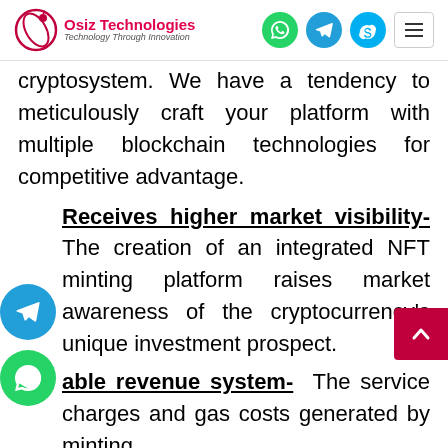Osiz Technologies — Technology Through Innovation (nav bar with social icons)
cryptosystem. We have a tendency to meticulously craft your platform with multiple blockchain technologies for competitive advantage.
Receives higher market visibility- The creation of an integrated NFT minting platform raises market awareness of the cryptocurrency's unique investment prospect.
able revenue system- The service charges and gas costs generated by minting